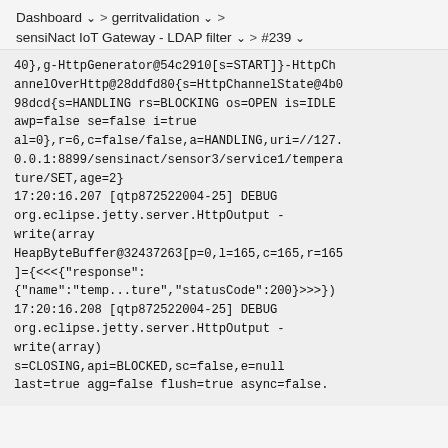Dashboard > gerritvalidation > sensiNact IoT Gateway - LDAP filter > #239
40},g-HttpGenerator@54c2910[s=START]}-HttpChannelOverHttp@28ddfd80{s=HttpChannelState@4b098dcd{s=HANDLING rs=BLOCKING os=OPEN is=IDLE awp=false se=false i=true al=0},r=6,c=false/false,a=HANDLING,uri=//127.0.0.1:8899/sensinact/sensor3/service1/temperature/SET,age=2}
17:20:16.207 [qtp872522004-25] DEBUG org.eclipse.jetty.server.HttpOutput - write(array HeapByteBuffer@32437263[p=0,l=165,c=165,r=165]={<<<{"response":{"name":"temp...ture","statusCode":200}>>>})
17:20:16.208 [qtp872522004-25] DEBUG org.eclipse.jetty.server.HttpOutput - write(array)
s=CLOSING,api=BLOCKED,sc=false,e=null
last=true agg=false flush=true async=false.